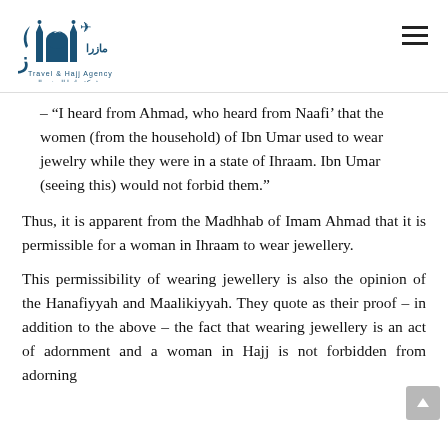[Figure (logo): Mazara Travel & Hajj Agency logo with mosque, crescent moon, airplane icons and Arabic text]
– “I heard from Ahmad, who heard from Naafi’ that the women (from the household) of Ibn Umar used to wear jewelry while they were in a state of Ihraam. Ibn Umar (seeing this) would not forbid them.”
Thus, it is apparent from the Madhhab of Imam Ahmad that it is permissible for a woman in Ihraam to wear jewellery.
This permissibility of wearing jewellery is also the opinion of the Hanafiyyah and Maalikiyyah. They quote as their proof – in addition to the above – the fact that wearing jewellery is an act of adornment and a woman in Hajj is not forbidden from adorning...